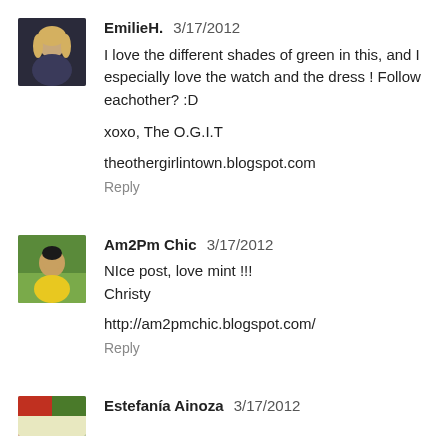[Figure (photo): Avatar photo of EmilieH, a blonde woman against dark background]
EmilieH. 3/17/2012
I love the different shades of green in this, and I especially love the watch and the dress ! Follow eachother? :D

xoxo, The O.G.I.T

theothergirlintown.blogspot.com
Reply
[Figure (photo): Avatar photo of Am2Pm Chic, a person in yellow top outdoors]
Am2Pm Chic 3/17/2012
NIce post, love mint !!!
Christy

http://am2pmchic.blogspot.com/
Reply
[Figure (photo): Avatar photo of Estefanía Ainoza]
Estefanía Ainoza 3/17/2012